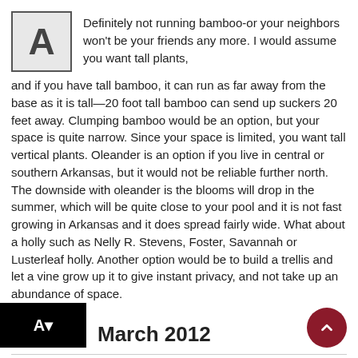Definitely not running bamboo-or your neighbors won't be your friends any more. I would assume you want tall plants, and if you have tall bamboo, it can run as far away from the base as it is tall—20 foot tall bamboo can send up suckers 20 feet away. Clumping bamboo would be an option, but your space is quite narrow. Since your space is limited, you want tall vertical plants. Oleander is an option if you live in central or southern Arkansas, but it would not be reliable further north. The downside with oleander is the blooms will drop in the summer, which will be quite close to your pool and it is not fast growing in Arkansas and it does spread fairly wide. What about a holly such as Nelly R. Stevens, Foster, Savannah or Lusterleaf holly. Another option would be to build a trellis and let a vine grow up it to give instant privacy, and not take up an abundance of space.
March 2012
My home in Colony West faces west and the front beds are